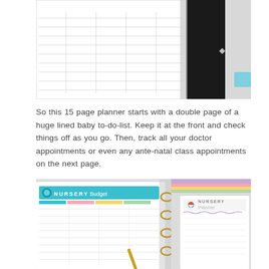[Figure (photo): Photo of an open ring-bound planner showing a blank lined baby to-do-list page with columns, next to a dark notebook, with a pink/blue tabbed binder visible on the right.]
So this 15 page planner starts with a double page of a huge lined baby to-do-list. Keep it at the front and check things off as you go. Then, track all your doctor appointments or even any ante-natal class appointments on the next page.
[Figure (photo): Photo of two open planner pages side by side in a gold ring binder — left page labeled 'NURSERY Budget' with a teal header and lined rows, right page labeled 'NURSERY Planner' with a colorful circular icon, with a gold pen resting on the pages.]